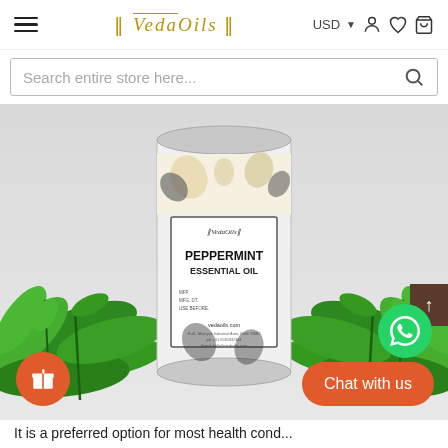[Figure (logo): VedaOils logo with decorative text in gold/brown serif font]
[Figure (screenshot): E-commerce website header with hamburger menu, VedaOils logo, USD currency selector, user icon, wishlist icon, and cart icon]
[Figure (photo): Peppermint Essential Oil product in a cylindrical tin can with white label showing VedaOils branding, surrounded by fresh peppermint leaves on grey background]
It is a preferred option for most health cond...